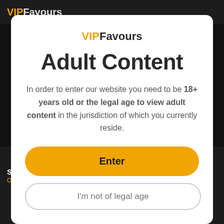VIPFavours
VIPFavours
Adult Content
In order to enter our website you need to be 18+ years old or the legal age to view adult content in the jurisdiction of which you currently reside.
Enter
I'm not of legal age
Sandra, 30
Ottawa, Ontario
Ella, 32
Ottawa, Ontario